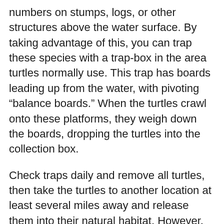numbers on stumps, logs, or other structures above the water surface. By taking advantage of this, you can trap these species with a trap-box in the area turtles normally use. This trap has boards leading up from the water, with pivoting “balance boards.” When the turtles crawl onto these platforms, they weigh down the boards, dropping the turtles into the collection box.
Check traps daily and remove all turtles, then take the turtles to another location at least several miles away and release them into their natural habitat. However, understand that your release site is important, as you want the turtles to survive and you do not want to create a problem for someone else. Be careful not to violate state laws when transporting turtles, and do not carry them across state lines, since other states have different laws.